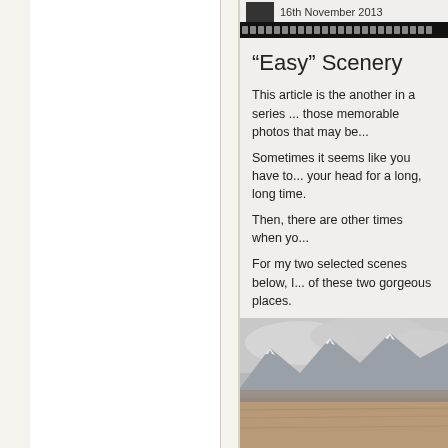16th November 2013
“Easy” Scenery
This article is the another in a series ... those memorable photos that may be...
Sometimes it seems like you have to... your head for a long, long time.
Then, there are other times when yo...
For my two selected scenes below, I... of these two gorgeous places.
Both were taken in the Grand Teton... Lake Overlook and the second at Ox...
This panorama shows you an overvi... Jackson Lake in the foreground. Oro... in this part of the lake as water has h... for irrigation of farms in adjoining Ida...
[Figure (photo): Panoramic landscape photo showing a wide flat shoreline or lakebed with mountains capped in snow and cloud in the background, muted brown and grey tones]